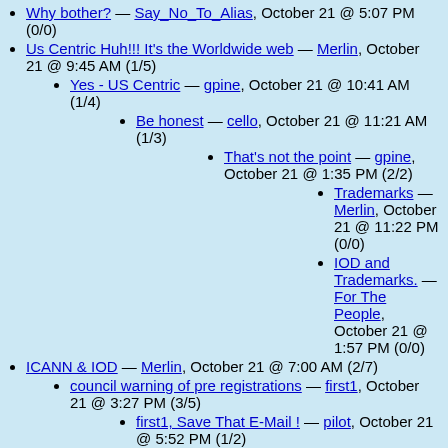Why bother? — Say_No_To_Alias, October 21 @ 5:07 PM (0/0)
Us Centric Huh!!! It's the Worldwide web — Merlin, October 21 @ 9:45 AM (1/5)
Yes - US Centric — gpine, October 21 @ 10:41 AM (1/4)
Be honest — cello, October 21 @ 11:21 AM (1/3)
That's not the point — gpine, October 21 @ 1:35 PM (2/2)
Trademarks — Merlin, October 21 @ 11:22 PM (0/0)
IOD and Trademarks. — For The People, October 21 @ 1:57 PM (0/0)
ICANN & IOD — Merlin, October 21 @ 7:00 AM (2/7)
council warning of pre registrations — first1, October 21 @ 3:27 PM (3/5)
first1, Save That E-Mail ! — pilot, October 21 @ 5:52 PM (1/2)
That warning came from the Names Council. As such. . . — For The People, October 21 @ 5:56 PM (1/1)
Sept. 29 Warning By